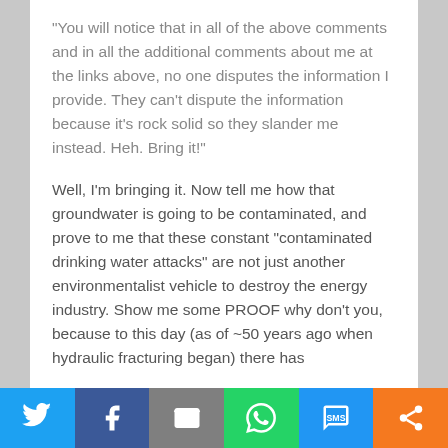“You will notice that in all of the above comments and in all the additional comments about me at the links above, no one disputes the information I provide. They can’t dispute the information because it’s rock solid so they slander me instead. Heh. Bring it!”
Well, I’m bringing it. Now tell me how that groundwater is going to be contaminated, and prove to me that these constant “contaminated drinking water attacks” are not just another environmentalist vehicle to destroy the energy industry. Show me some PROOF why don’t you, because to this day (as of ~50 years ago when hydraulic fracturing began) there has
[Figure (infographic): Social media share bar with icons for Twitter, Facebook, Email, WhatsApp, SMS, and another share option]